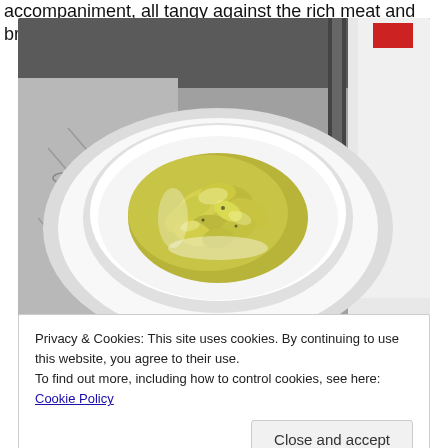accompaniment, all tangy against the rich meat and broth.
[Figure (photo): A white bowl filled with chopped pickled vegetables (pale yellow-green, slightly translucent pieces) served on a white plate, placed on a gray patterned surface. A white container is partially visible on the right side.]
Privacy & Cookies: This site uses cookies. By continuing to use this website, you agree to their use.
To find out more, including how to control cookies, see here: Cookie Policy
Close and accept